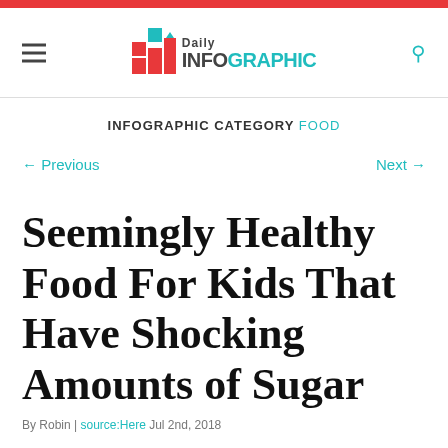Daily INFOGRAPHIC
INFOGRAPHIC CATEGORY FOOD
← Previous   Next →
Seemingly Healthy Food For Kids That Have Shocking Amounts of Sugar
By Robin | source:Here Jul 2nd, 2018